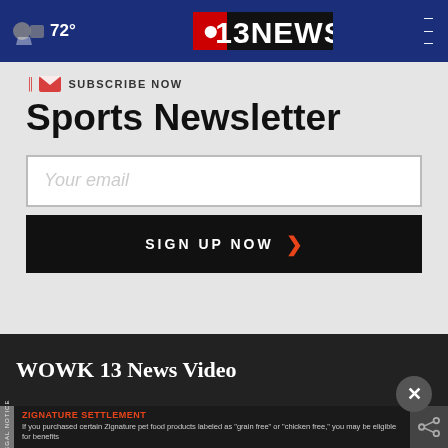72° CBS 13 NEWS
SUBSCRIBE NOW
Sports Newsletter
Your email
SIGN UP NOW
WOWK 13 News Video
ZIGNATURE SETTLEMENT If you purchased certain Zignature pet food products labeled as "grain free" or "chicken free," you may be eligible for benefits